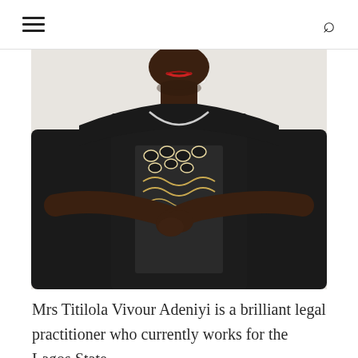≡  🔍
[Figure (photo): Professional portrait photo of Mrs Titilola Vivour Adeniyi, a woman wearing a black cardigan over a black and white patterned top, arms crossed, photographed from the chin down with a white background.]
Mrs Titilola Vivour Adeniyi is a brilliant legal practitioner who currently works for the Lagos State